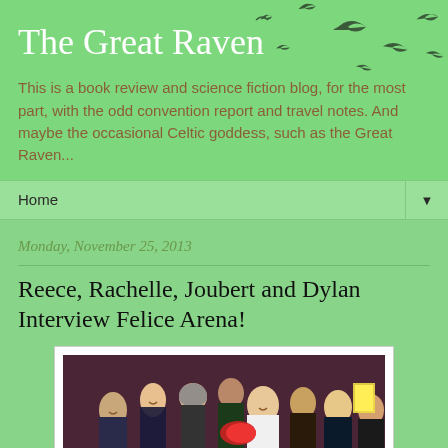The Great Raven
This is a book review and science fiction blog, for the most part, with the odd convention report and travel notes. And maybe the occasional Celtic goddess, such as the Great Raven...
Home ▼
Monday, November 25, 2013
Reece, Rachelle, Joubert and Dylan Interview Felice Arena!
[Figure (photo): Group photo of children and an adult man, some holding red items, in a dark background studio setting]